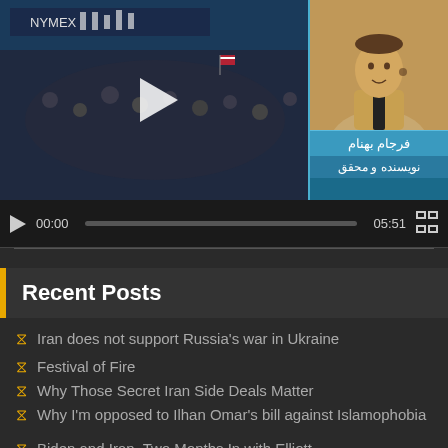[Figure (screenshot): Video player showing a news broadcast. Left side shows a crowd scene with a play button overlay. Right side shows a person (Farjam Behnam) with Persian text labels identifying them as a writer and researcher.]
00:00  05:51
Recent Posts
Iran does not support Russia's war in Ukraine
Festival of Fire
Why Those Secret Iran Side Deals Matter
Why I'm opposed to Ilhan Omar's bill against Islamophobia
Biden and Iran, Two Months In with Elliott Abrams (Video)